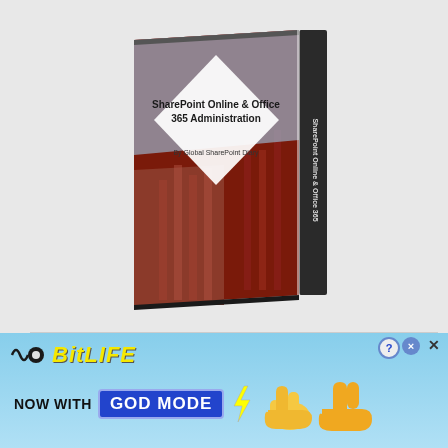[Figure (illustration): A 3D book cover showing 'SharePoint Online & Office 365 Administration' by Global SharePoint Diary, with a building/architecture background image and white diamond shape on the cover, standing upright with a visible spine on the right side.]
Privacy & Cookies: This site uses cookies. By continuing to use this website, you agree to their use.
To find out more, including how to control cookies, see here: Cookie Poli...
[Figure (infographic): BitLife advertisement banner with light blue background showing: BitLife logo with wavy line and dot icon in yellow italic text, 'NOW WITH GOD MODE' text where 'GOD MODE' appears in a blue box with white text, decorative lightning bolt, and two cartoon pointing hands/fingers on right side. Close button (X) and help (?) button in top right.]